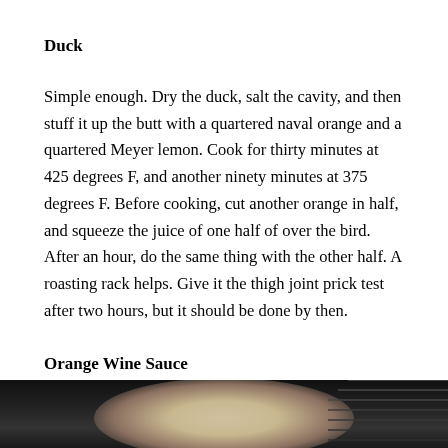Duck
Simple enough. Dry the duck, salt the cavity, and then stuff it up the butt with a quartered naval orange and a quartered Meyer lemon. Cook for thirty minutes at 425 degrees F, and another ninety minutes at 375 degrees F. Before cooking, cut another orange in half, and squeeze the juice of one half of over the bird. After an hour, do the same thing with the other half. A roasting rack helps. Give it the thigh joint prick test after two hours, but it should be done by then.
Orange Wine Sauce
[Figure (photo): Photo of a roasted duck on a roasting rack, dark background, partially cropped at bottom of page]